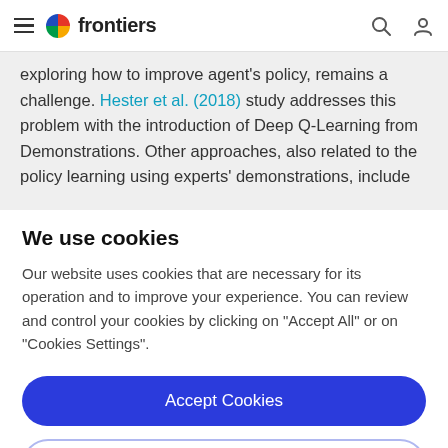frontiers
exploring how to improve agent's policy, remains a challenge. Hester et al. (2018) study addresses this problem with the introduction of Deep Q-Learning from Demonstrations. Other approaches, also related to the policy learning using experts' demonstrations, include
We use cookies
Our website uses cookies that are necessary for its operation and to improve your experience. You can review and control your cookies by clicking on "Accept All" or on "Cookies Settings".
Accept Cookies
Cookies Settings